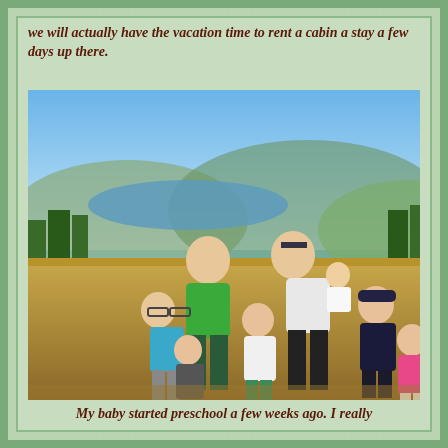we will actually have the vacation time to rent a cabin a stay a few days up there.
[Figure (photo): Family photo of two adults and five children standing outdoors on a hillside with a scenic valley and water view in the background. The man is wearing a green t-shirt and the woman is holding a baby. There are four other children of various ages around them.]
My baby started preschool a few weeks ago. I really